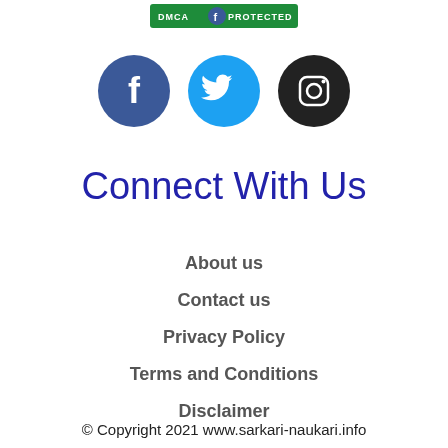[Figure (logo): DMCA Protected badge with green background and blue circle containing 'f' letter]
[Figure (illustration): Three social media icon circles: Facebook (dark blue with f), Twitter (light blue with bird), Instagram (dark/black with camera icon)]
Connect With Us
About us
Contact us
Privacy Policy
Terms and Conditions
Disclaimer
© Copyright 2021 www.sarkari-naukari.info